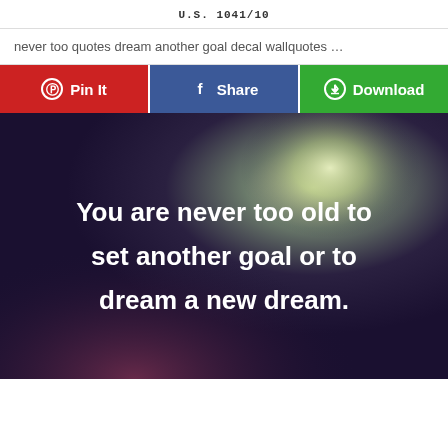U.S. 1041/10
never too quotes dream another goal decal wallquotes …
Pin It | Share | Download
[Figure (illustration): Inspirational quote image with dark gradient background and glowing light. White text reads: 'You are never too old to set another goal or to dream a new dream.']